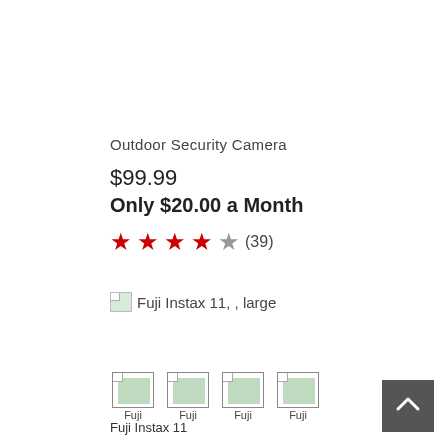Outdoor Security Camera
$99.99
Only $20.00 a Month
★★★★☆ (39)
[Figure (photo): Broken/missing image placeholder labeled 'Fuji Instax 11, , large']
[Figure (photo): Four thumbnail broken/missing image placeholders each labeled 'Fuji', with caption 'Fuji Instax 11' below]
Fuji Instax 11